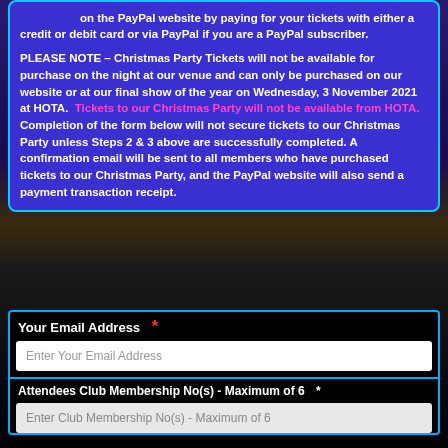on the PayPal website by paying for your tickets with either a credit or debit card or via PayPal if you are a PayPal subscriber.
PLEASE NOTE – Christmas Party Tickets will not be available for purchase on the night at our venue and can only be purchased on our website or at our final show of the year on Wednesday, 3 November 2021 at HOTA. Tickets to our Christmas Party will not be available from HOTA. Completion of the form below will not secure tickets to our Christmas Party unless Steps 2 & 3 above are successfully completed. A confirmation email will be sent to all members who have purchased tickets to our Christmas Party, and the PayPal website will also send a payment transaction receipt.
Your Email Address *
Enter Your Email Address
Attendees Club Membership No(s) - Maximum of 6 *
Enter Club Membership No(s) - Maximum of 6